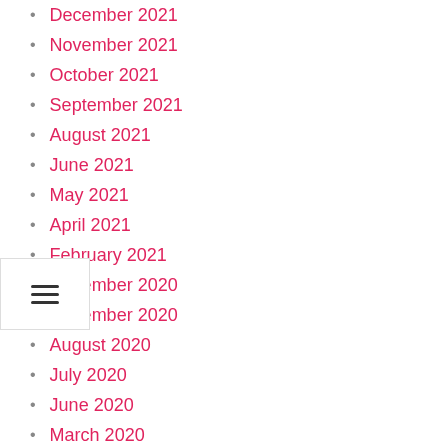December 2021
November 2021
October 2021
September 2021
August 2021
June 2021
May 2021
April 2021
February 2021
December 2020
November 2020
August 2020
July 2020
June 2020
March 2020
November 2019
October 2019
August 2019
June 2019